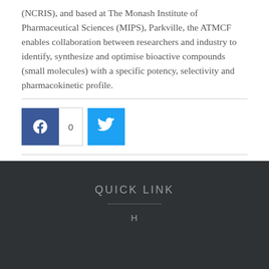(NCRIS), and based at The Monash Institute of Pharmaceutical Sciences (MIPS), Parkville, the ATMCF enables collaboration between researchers and industry to identify, synthesize and optimise bioactive compounds (small molecules) with a specific potency, selectivity and pharmacokinetic profile.
[Figure (other): Social sharing buttons: Facebook button with share count of 0 and Twitter button]
QUICK LINK